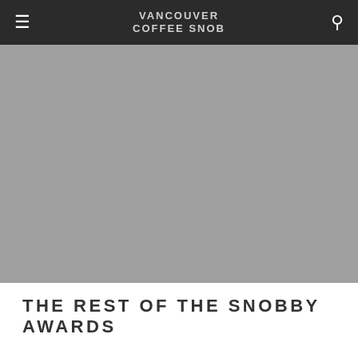VANCOUVER COFFEE SNOB
[Figure (photo): Large grey placeholder hero image filling the width of the page below the navigation bar]
THE REST OF THE SNOBBY AWARDS